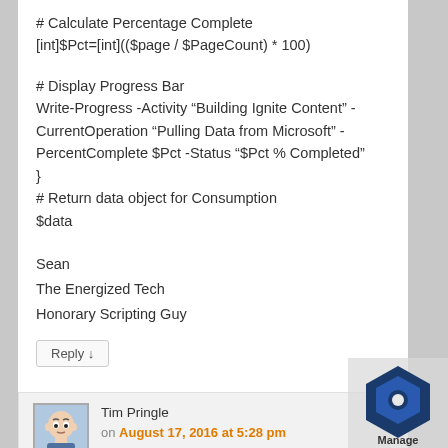# Calculate Percentage Complete
[int]$Pct=[int](($page / $PageCount) * 100)

# Display Progress Bar
Write-Progress -Activity “Building Ignite Content” -CurrentOperation “Pulling Data from Microsoft” -PercentComplete $Pct -Status “$Pct % Completed”
}
# Return data object for Consumption
$data
Sean
The Energized Tech
Honorary Scripting Guy
Reply ↓
Tim Pringle
on August 17, 2016 at 5:28 pm